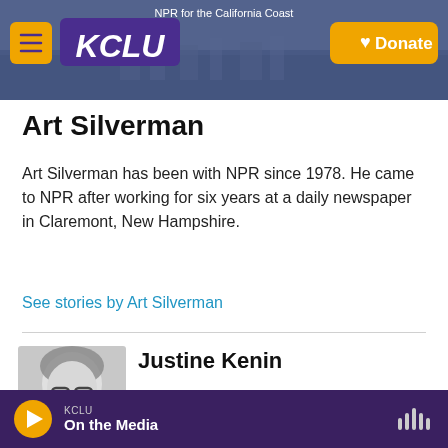[Figure (screenshot): KCLU website header banner with logo, menu button, and Donate button over a coastal city photo background. Text reads 'NPR for the California Coast'.]
Art Silverman
Art Silverman has been with NPR since 1978. He came to NPR after working for six years at a daily newspaper in Claremont, New Hampshire.
See stories by Art Silverman
Justine Kenin
[Figure (photo): Black and white headshot of Justine Kenin, a woman with glasses and short hair, smiling.]
Justine Kenin is an editor on All Things
KCLU  On the Media